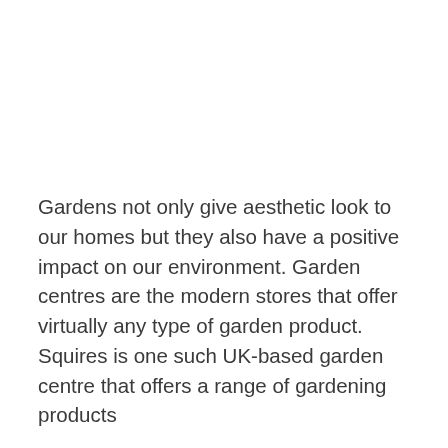Gardens not only give aesthetic look to our homes but they also have a positive impact on our environment. Garden centres are the modern stores that offer virtually any type of garden product. Squires is one such UK-based garden centre that offers a range of gardening products